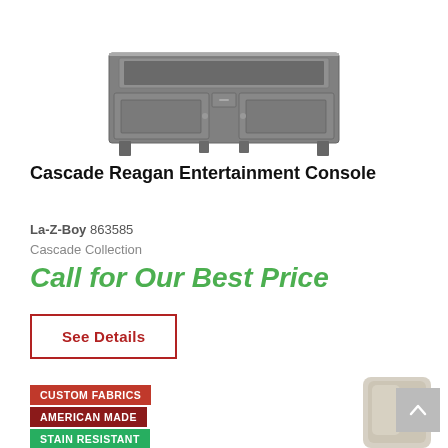[Figure (photo): Gray wood entertainment console with cabinet doors, a center drawer, and open display shelf at top]
Cascade Reagan Entertainment Console
La-Z-Boy 863585
Cascade Collection
Call for Our Best Price
See Details
CUSTOM FABRICS
AMERICAN MADE
STAIN RESISTANT
[Figure (photo): Partial view of a light beige upholstered chair back]